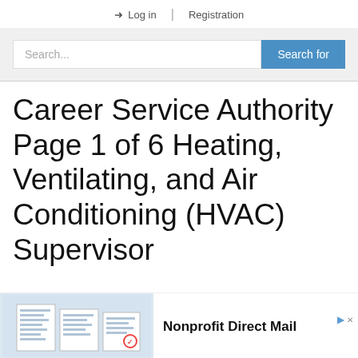➜ Log in | Registration
[Figure (screenshot): Search bar with text field placeholder 'Search...' and blue 'Search for' button on light gray background]
Career Service Authority Page 1 of 6 Heating, Ventilating, and Air Conditioning (HVAC) Supervisor
[Figure (infographic): Advertisement banner: document images on left, 'Nonprofit Direct Mail' bold text on right, with ad badge top right]